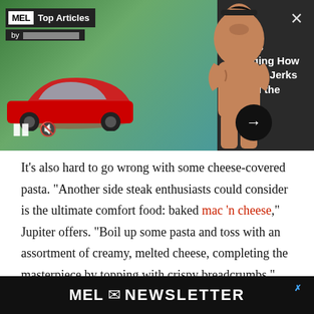[Figure (screenshot): MEL Magazine Top Articles video banner showing a red Tesla car and a shirtless muscular man with arms crossed, with play/mute controls and next arrow button]
Tesla Is Changing How Men Are Jerks Behind the Wheel
It’s also hard to go wrong with some cheese-covered pasta. “Another side steak enthusiasts could consider is the ultimate comfort food: baked mac ‘n cheese,” Jupiter offers. “Boil up some pasta and toss with an assortment of creamy, melted cheese, completing the masterpiece by topping with crispy breadcrumbs.”
[Figure (logo): MEL Newsletter banner with envelope icon on black background]